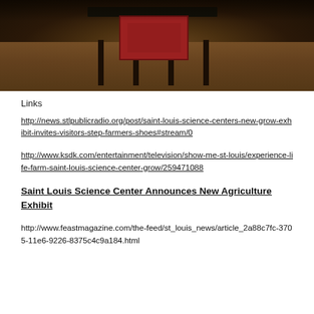[Figure (photo): Photo of a wooden table/display stand with a red information sign, set against a dark gravelly or soil background. The photo is cropped to show the table and surroundings in a dark, earthy setting.]
Links
http://news.stlpublicradio.org/post/saint-louis-science-centers-new-grow-exhibit-invites-visitors-step-farmers-shoes#stream/0
http://www.ksdk.com/entertainment/television/show-me-st-louis/experience-life-farm-saint-louis-science-center-grow/259471088
Saint Louis Science Center Announces New Agriculture Exhibit
http://www.feastmagazine.com/the-feed/st_louis_news/article_2a88c7fc-3705-11e6-9226-8375c4c9a184.html